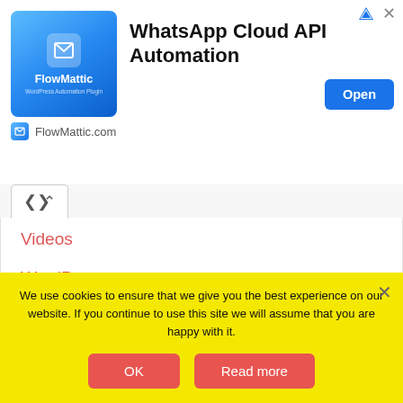[Figure (screenshot): FlowMattic advertisement banner with logo, 'WhatsApp Cloud API Automation' title, and Open button. FlowMattic.com domain shown below.]
Videos
WordPress
Work
Yeh Des Hai Mera
We use cookies to ensure that we give you the best experience on our website. If you continue to use this site we will assume that you are happy with it.